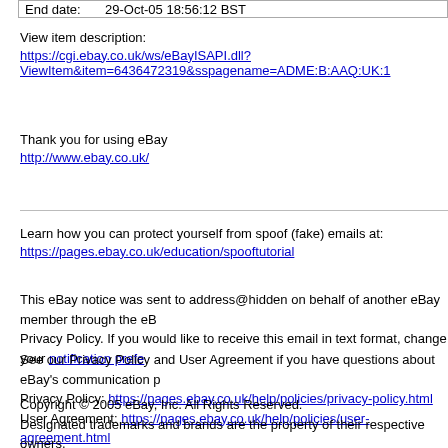| End date: | 29-Oct-05 18:56:12 BST |
View item description:
https://cgi.ebay.co.uk/ws/eBayISAPI.dll?ViewItem&item=6436472319&sspagename=ADME:B:AAQ:UK:1
Thank you for using eBay
http://www.ebay.co.uk/
Learn how you can protect yourself from spoof (fake) emails at:
https://pages.ebay.co.uk/education/spooftutorial
This eBay notice was sent to address@hidden on behalf of another eBay member through the eBay Privacy Policy. If you would like to receive this email in text format, change your notification preferences.
See our Privacy Policy and User Agreement if you have questions about eBay's communication p
Privacy Policy: https://pages.ebay.co.uk/help/policies/privacy-policy.html
User Agreement: https://pages.ebay.co.uk/help/policies/user-agreement.html
Copyright © 2005 eBay, Inc. All Rights Reserved.
Designated trademarks and brands are the property of their respective owners.
eBay and the eBay logo are registered trademarks or trademarks of eBay, Inc.